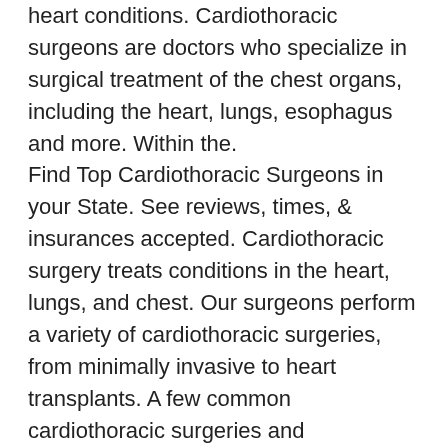heart conditions. Cardiothoracic surgeons are doctors who specialize in surgical treatment of the chest organs, including the heart, lungs, esophagus and more. Within the. Find Top Cardiothoracic Surgeons in your State. See reviews, times, & insurances accepted. Cardiothoracic surgery treats conditions in the heart, lungs, and chest. Our surgeons perform a variety of cardiothoracic surgeries, from minimally invasive to heart transplants. A few common cardiothoracic surgeries and procedures include: Angioplasty. Jun 25,  · A cardiothoracic surgeon is a doctor who specializes in surgical procedures inside the thorax (the chest), which may involve the heart, lungs, esophagus and other parts of the chest. These medical professionals operate to cure diseases, such as coronary artery disease, occurring in organs, bony structures tissues that form the chest cavity.